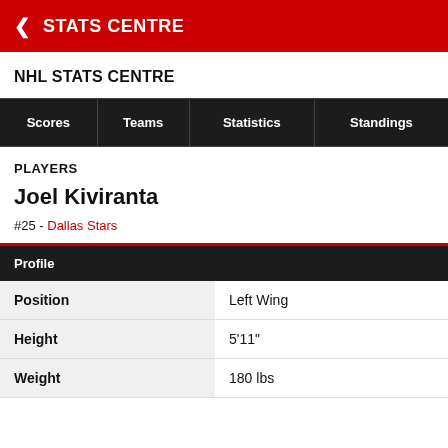< STATS CENTRE
NHL STATS CENTRE
| Scores | Teams | Statistics | Standings |
| --- | --- | --- | --- |
PLAYERS
Joel Kiviranta
#25 - Dallas Stars
| Profile |  |
| --- | --- |
| Position | Left Wing |
| Height | 5'11" |
| Weight | 180 lbs |